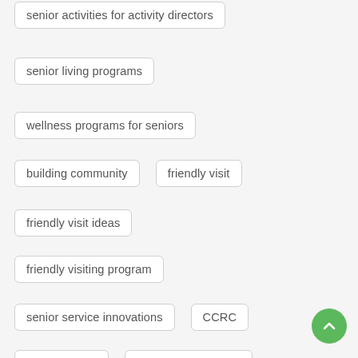senior activities for activity directors
senior living programs
wellness programs for seniors
building community
friendly visit
friendly visit ideas
friendly visiting program
senior service innovations
CCRC
disorientation
geriatric depression
retirement community
brain fitness programming